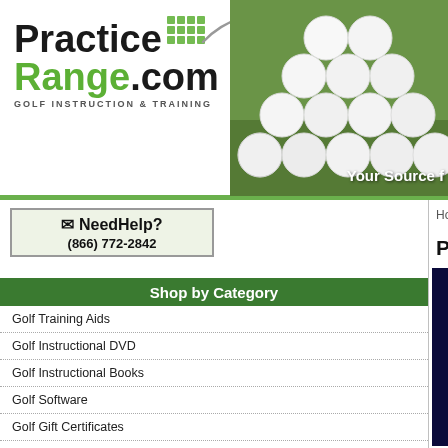[Figure (logo): PracticeRange.com logo with golf instruction and training tagline]
[Figure (photo): Golf balls stacked on green grass with 'Your Source f...' text overlay]
Need Help? (866) 772-2842
Shop by Category
Golf Training Aids
Golf Instructional DVD
Golf Instructional Books
Golf Software
Golf Gift Certificates
Golf Accessories
Golf Mats, Nets, Mirrors
Sale Items
balls
Home > Golf Training Aids
Powerball Spo...
[Figure (photo): Two DFX Sports & Fitness Powerball gyroscopic exercise balls, blue and green, side by side]